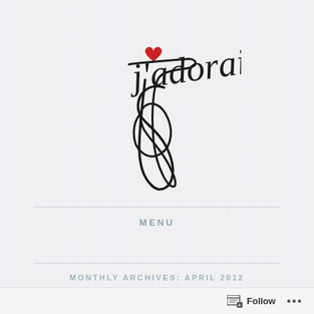[Figure (logo): J'adorais cursive script logo with a small red heart above the apostrophe]
MENU
MONTHLY ARCHIVES: APRIL 2012
IT'S AUSTRALIAN
Follow ...